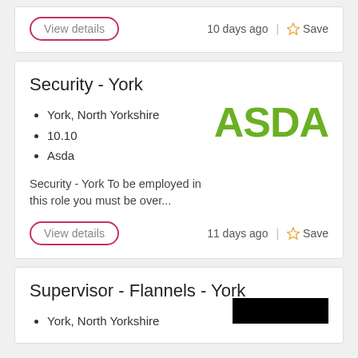View details | 10 days ago | Save
Security - York
York, North Yorkshire
10.10
Asda
Security - York To be employed in this role you must be over...
[Figure (logo): ASDA logo in green bold text]
View details | 11 days ago | Save
Supervisor - Flannels - York
York, North Yorkshire
[Figure (logo): Black rectangular logo (partially visible)]